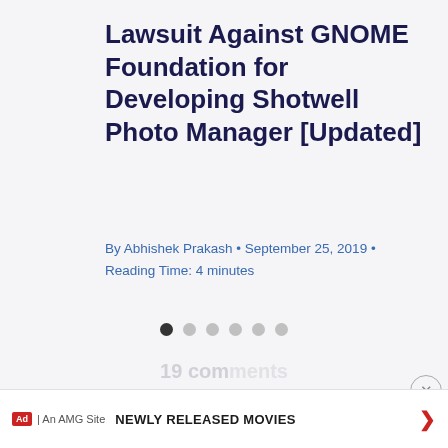Lawsuit Against GNOME Foundation for Developing Shotwell Photo Manager [Updated]
By Abhishek Prakash • September 25, 2019 • Reading Time: 4 minutes
[Figure (other): Carousel navigation dots: one filled dark dot followed by five light gray dots]
[Figure (other): Close button (circled X) in upper right area]
19 comments
newest comments first
NEWLY RELEASED MOVIES
Ad | An AMG Site